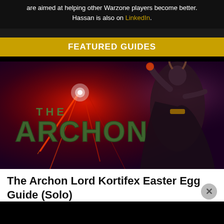are aimed at helping other Warzone players become better. Hassan is also on LinkedIn.
FEATURED GUIDES
[Figure (illustration): The Archon Lord Kortifex promotional artwork showing a robed fantasy villain character with glowing red magical energy and the text 'THE ARCHON' in stylized green lettering]
The Archon Lord Kortifex Easter Egg Guide (Solo)